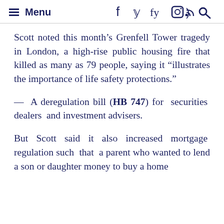Menu
Scott noted this month's Grenfell Tower tragedy in London, a high-rise public housing fire that killed as many as 79 people, saying it "illustrates the importance of life safety protections."
— A deregulation bill (HB 747) for securities dealers and investment advisers.
But Scott said it also increased mortgage regulation such that a parent who wanted to lend a son or daughter money to buy a home